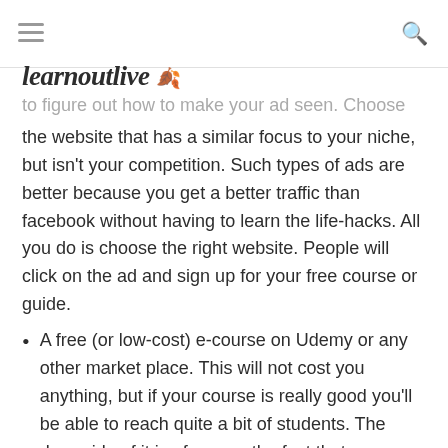learnoutlive
to figure out how to make your ad seen. Choose the website that has a similar focus to your niche, but isn't your competition. Such types of ads are better because you get a better traffic than facebook without having to learn the life-hacks. All you do is choose the right website. People will click on the ad and sign up for your free course or guide.
A free (or low-cost) e-course on Udemy or any other market place. This will not cost you anything, but if your course is really good you'll be able to reach quite a bit of students. The downside of it is of course the fact that